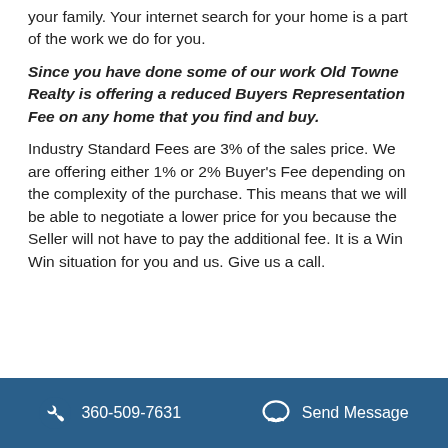You only have one client to search for ...you and your family.  Your internet search for your home is a part of the work we do for you.
Since you have done some of our work Old Towne Realty is offering a reduced Buyers Representation Fee on any home that you find and buy.
Industry Standard Fees are 3% of the sales price.  We are offering either 1% or 2% Buyer's Fee depending on the complexity of the purchase.   This means that we will be able to negotiate a lower price for you because the Seller will not have to pay the additional fee.  It is a Win Win situation for you and us.  Give us a call.
360-509-7631   Send Message